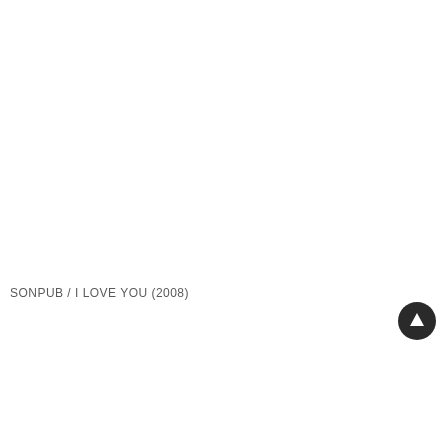SONPUB / I LOVE YOU (2008)
[Figure (other): Dark circular button with upward arrow icon, positioned at bottom-right]